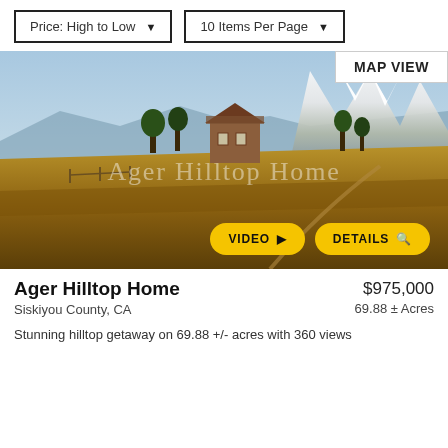Price: High to Low
10 Items Per Page
MAP VIEW
[Figure (photo): Aerial/wide-angle photo of Ager Hilltop Home property showing a wooden two-story house on golden grassland with snow-capped Mount Shasta in background. Watermark text reads 'Ager Hilltop Home'. VIDEO and DETAILS buttons overlay the bottom-right of the image.]
Ager Hilltop Home
Siskiyou County, CA
$975,000
69.88 ± Acres
Stunning hilltop getaway on 69.88 +/- acres with 360 views